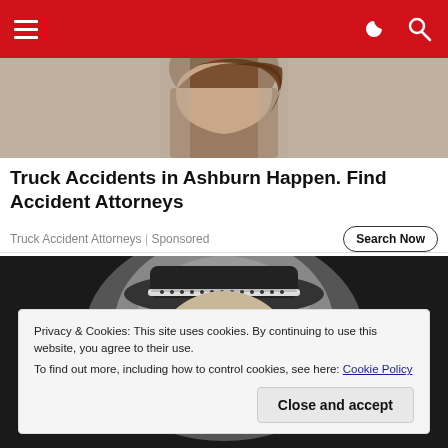≡ [navigation icons]
[Figure (photo): Partial photo of a person with long brown hair, top of head and hair visible against light background]
Truck Accidents in Ashburn Happen. Find Accident Attorneys
Truck Accident Attorneys | Sponsored
Search Now
[Figure (photo): Black and white close-up photo of a person wearing a dark hat with light trim, eyes visible, dramatic shadow across face]
Privacy & Cookies: This site uses cookies. By continuing to use this website, you agree to their use.
To find out more, including how to control cookies, see here: Cookie Policy
Close and accept